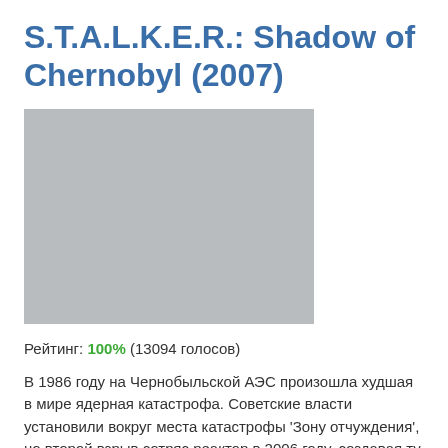S.T.A.L.K.E.R.: Shadow of Chernobyl (2007)
[Figure (photo): Gray placeholder image for S.T.A.L.K.E.R.: Shadow of Chernobyl game cover or screenshot]
Рейтинг: 100% (13094 голосов)
В 1986 году на Чернобыльской АЭС произошла худшая в мире ядерная катастрофа. Советские власти установили вокруг места катастрофы 'Зону отчуждения', но второй взрыв сотряс реактор в 2006 году, создавая ту